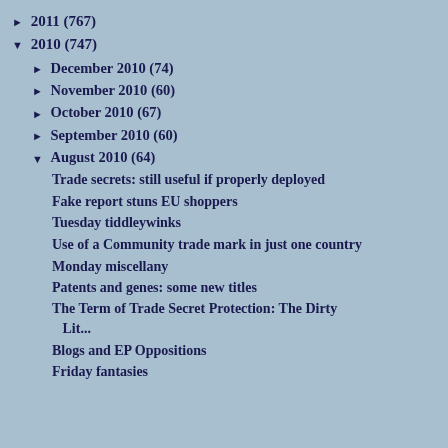► 2011 (767)
▼ 2010 (747)
► December 2010 (74)
► November 2010 (60)
► October 2010 (67)
► September 2010 (60)
▼ August 2010 (64)
Trade secrets: still useful if properly deployed
Fake report stuns EU shoppers
Tuesday tiddleywinks
Use of a Community trade mark in just one country
Monday miscellany
Patents and genes: some new titles
The Term of Trade Secret Protection: The Dirty Lit...
Blogs and EP Oppositions
Friday fantasies